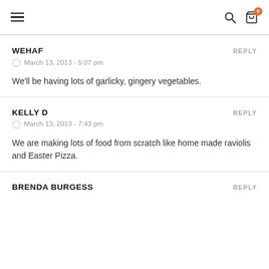Navigation header with hamburger menu, search icon, and cart icon with badge 0
WEHAF
March 13, 2013 - 5:07 pm
We'll be having lots of garlicky, gingery vegetables.
KELLY D
March 13, 2013 - 7:43 pm
We are making lots of food from scratch like home made raviolis and Easter Pizza.
BRENDA BURGESS